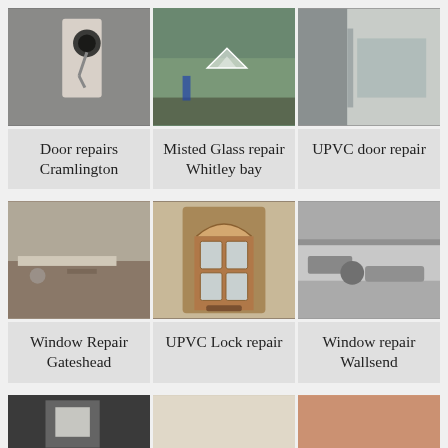[Figure (photo): Three photos showing door lock with key, aerial view of building with skylight, and partially open window/door]
Door repairs Cramlington
Misted Glass repair Whitley bay
UPVC door repair
[Figure (photo): Three photos showing window sill with objects, ornate front door with glass panels, and window handle/mechanism close-up]
Window Repair Gateshead
UPVC Lock repair
Window repair Wallsend
[Figure (photo): Three partially visible photos at bottom of page showing door/window repair scenes]